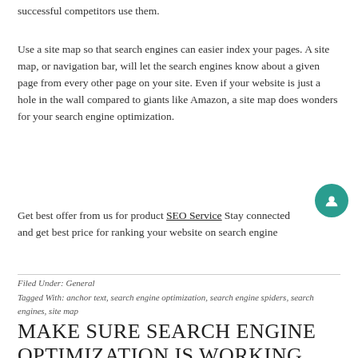successful competitors use them.
Use a site map so that search engines can easier index your pages. A site map, or navigation bar, will let the search engines know about a given page from every other page on your site. Even if your website is just a hole in the wall compared to giants like Amazon, a site map does wonders for your search engine optimization.
Get best offer from us for product SEO Service Stay connected and get best price for ranking your website on search engine
Filed Under: General
Tagged With: anchor text, search engine optimization, search engine spiders, search engines, site map
MAKE SURE SEARCH ENGINE OPTIMIZATION IS WORKING FOR